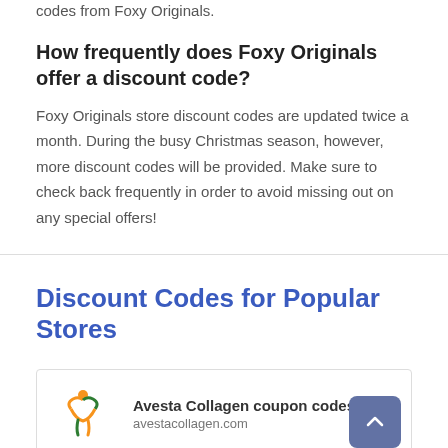codes from Foxy Originals.
How frequently does Foxy Originals offer a discount code?
Foxy Originals store discount codes are updated twice a month. During the busy Christmas season, however, more discount codes will be provided. Make sure to check back frequently in order to avoid missing out on any special offers!
Discount Codes for Popular Stores
Avesta Collagen coupon codes
avestacollagen.com